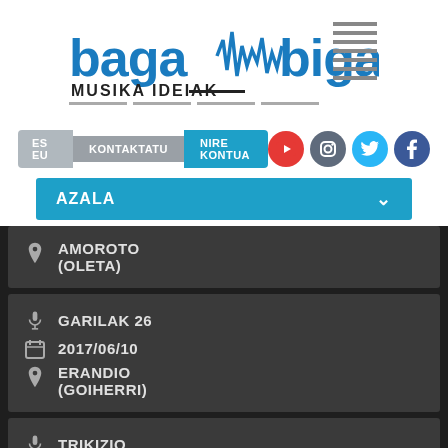[Figure (logo): Baga Biga Musika Ideiak logo with waveform graphic and horizontal lines]
[Figure (screenshot): Navigation bar with ES/EU language buttons, KONTAKTATU, NIRE KONTUA buttons, and social media icons (YouTube, Instagram, Twitter, Facebook)]
[Figure (screenshot): AZALA dropdown menu bar in blue]
AMOROTO (OLETA)
GARILAK 26 | 2017/06/10 | ERANDIO (GOIHERRI)
TRIKIZIO | 2017/06/10